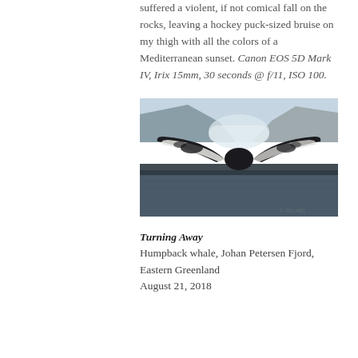suffered a violent, if not comical fall on the rocks, leaving a hockey puck-sized bruise on my thigh with all the colors of a Mediterranean sunset. Canon EOS 5D Mark IV, Irix 15mm, 30 seconds @ f/11, ISO 100.
[Figure (photo): A humpback whale tail (fluke) rising above the water surface in a fjord, with mountains and ice visible in the background. Johan Petersen Fjord, Eastern Greenland.]
Turning Away
Humpback whale, Johan Petersen Fjord, Eastern Greenland
August 21, 2018